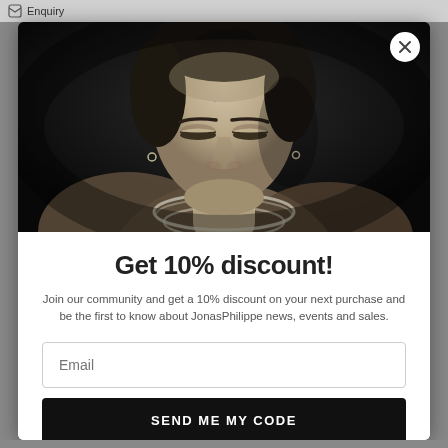Enquiry
[Figure (photo): Black and white portrait photo of a young man looking downward, shirtless wearing a chain necklace, dark background]
Get 10% discount!
Join our community and get a 10% discount on your next purchase and be the first to know about JonasPhilippe news, events and sales.
Email
SEND ME MY CODE